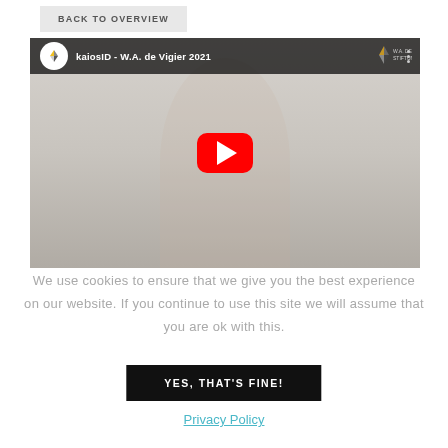BACK TO OVERVIEW
[Figure (screenshot): YouTube video thumbnail showing a man in a white shirt holding a device, with the video title 'kaiosID - W.A. de Vigier 2021' and a YouTube play button overlay. The video player has a dark top bar with the kaiosID logo and video title.]
We use cookies to ensure that we give you the best experience on our website. If you continue to use this site we will assume that you are ok with this.
YES, THAT'S FINE!
Privacy Policy